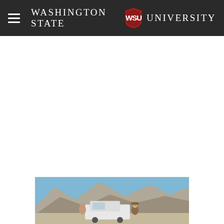Washington State University
[Figure (photo): Outdoor photo showing two people standing in front of a white pickup truck with arid mountain landscape in the background under a blue sky.]